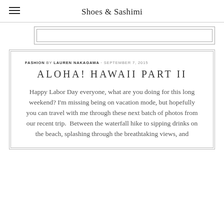Shoes & Sashimi
[Figure (other): Partial image placeholder at top, two nested rectangles]
ALOHA! HAWAII PART II
FASHION by LAUREN NAKAGAWA · SEPTEMBER 7, 2015
Happy Labor Day everyone, what are you doing for this long weekend? I'm missing being on vacation mode, but hopefully you can travel with me through these next batch of photos from our recent trip.  Between the waterfall hike to sipping drinks on the beach, splashing through the breathtaking views, and